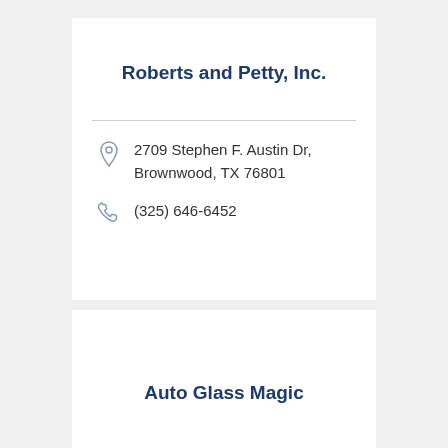Roberts and Petty, Inc.
2709 Stephen F. Austin Dr, Brownwood, TX 76801
(325) 646-6452
Auto Glass Magic